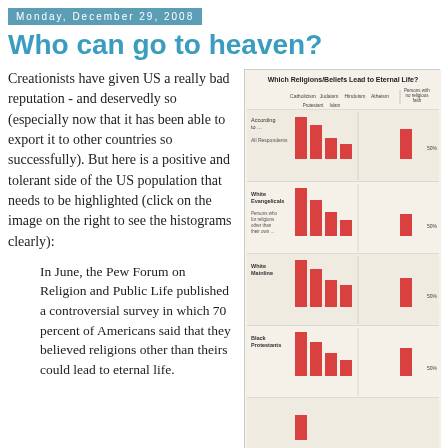Monday, December 29, 2008
Who can go to heaven?
Creationists have given US a really bad reputation - and deservedly so (especially now that it has been able to export it to other countries so successfully). But here is a positive and tolerant side of the US population that needs to be highlighted (click on the image on the right to see the histograms clearly):
In June, the Pew Forum on Religion and Public Life published a controversial survey in which 70 percent of Americans said that they believed religions other than theirs could lead to eternal life.
[Figure (bar-chart): Grouped bar chart showing percentage of different US religious groups (All Respondents, White Evangelicals, White Mainline, Black Protestants) who believe various religions/beliefs lead to eternal life. Categories: Catholics, Judaism, Hinduism, Atheism, Persons with no religious faith. Bars are red/coral colored on a beige background.]